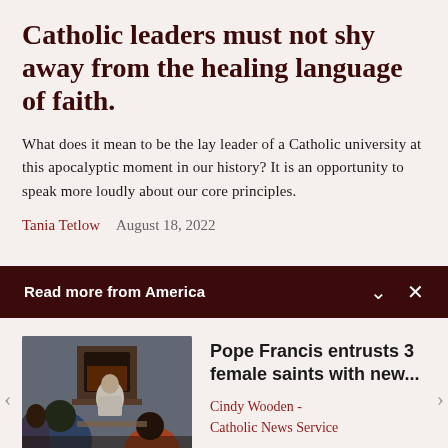Catholic leaders must not shy away from the healing language of faith.
What does it mean to be the lay leader of a Catholic university at this apocalyptic moment in our history? It is an opportunity to speak more loudly about our core principles.
Tania Tetlow   August 18, 2022
Read more from America
[Figure (photo): Photo of Pope Francis seated at a table with people, in an indoor setting with a fireplace in the background.]
Pope Francis entrusts 3 female saints with new...
Cindy Wooden - Catholic News Service